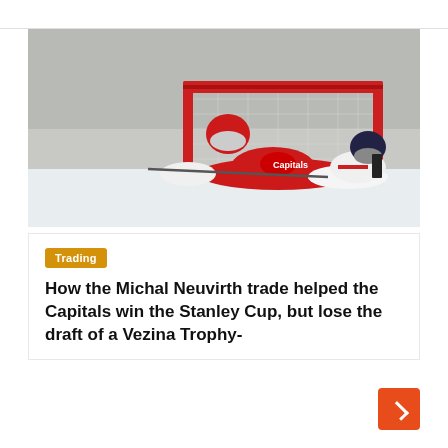[Figure (photo): Washington Capitals goalie in red jersey and mask making a save at the goal during an ice hockey practice or game, with another player in white on the ice. Red net and boards with yellow ice surface detail visible.]
Trading
How the Michal Neuvirth trade helped the Capitals win the Stanley Cup, but lose the draft of a Vezina Trophy-